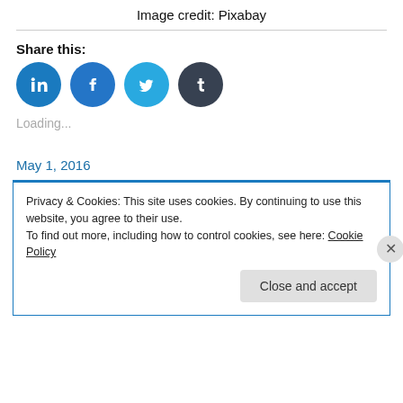Image credit: Pixabay
Share this:
[Figure (other): Social media share buttons: LinkedIn, Facebook, Twitter, Tumblr]
Loading...
May 1, 2016
Privacy & Cookies: This site uses cookies. By continuing to use this website, you agree to their use.
To find out more, including how to control cookies, see here: Cookie Policy